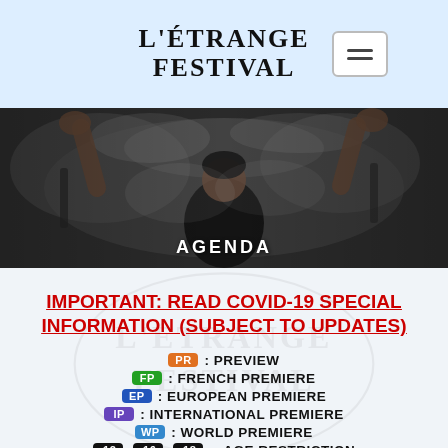[Figure (logo): L'Étrange Festival logo with menu button]
[Figure (photo): Person with arms raised surrounded by smoke, with AGENDA text overlay]
IMPORTANT: READ COVID-19 SPECIAL INFORMATION (SUBJECT TO UPDATES)
PR: PREVIEW
FP: FRENCH PREMIERE
EP: EUROPEAN PREMIERE
IP: INTERNATIONAL PREMIERE
WP: WORLD PREMIERE
-12 -16 -18: AGE RESTRICTION